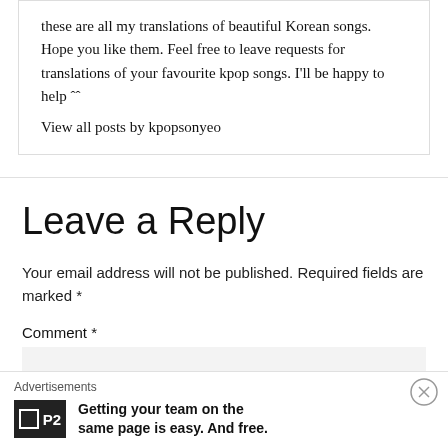these are all my translations of beautiful Korean songs. Hope you like them. Feel free to leave requests for translations of your favourite kpop songs. I'll be happy to help ˆˆ
View all posts by kpopsonyeo
Leave a Reply
Your email address will not be published. Required fields are marked *
Comment *
[Figure (infographic): Advertisement banner with close (X) button. Shows 'Advertisements' label, a P2 logo (black box with white square icon and P2 text), and bold text: 'Getting your team on the same page is easy. And free.']